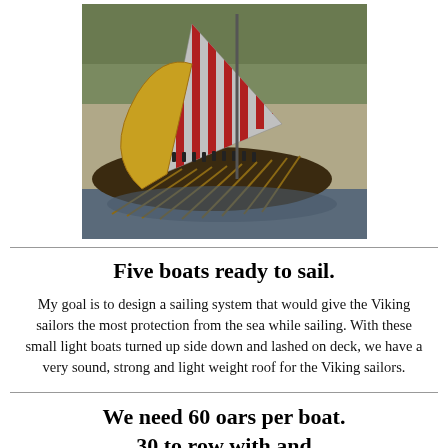[Figure (photo): A Viking longship with striped red and white sail, multiple oars extended, filled with people, on a river or lake with trees in background. Vintage/historical photograph.]
Five boats ready to sail.
My goal is to design a sailing system that would give the Viking sailors the most protection from the sea while sailing. With these small light boats turned up side down and lashed on deck, we have a very sound, strong and light weight roof for the Viking sailors.
We need 60 oars per boat.
30 to row with and